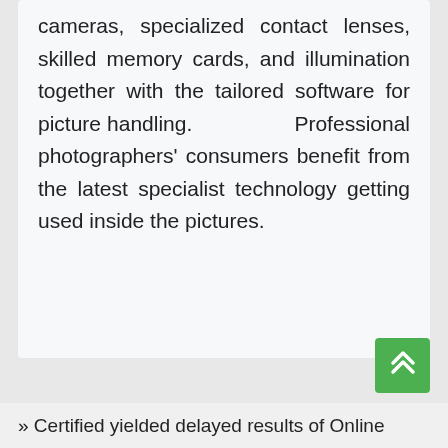cameras, specialized contact lenses, skilled memory cards, and illumination together with the tailored software for picture handling. Professional photographers' consumers benefit from the latest specialist technology getting used inside the pictures.
» Certified yielded delayed results of Online